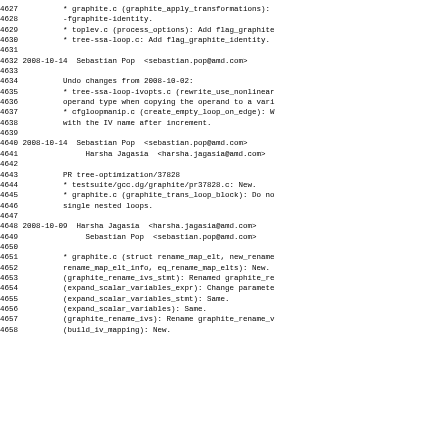4627-4658 source code changelog entries for graphite/gcc changes